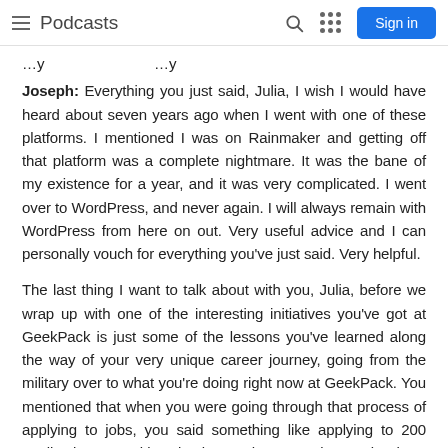Podcasts | Sign in
…y …y
Joseph: Everything you just said, Julia, I wish I would have heard about seven years ago when I went with one of these platforms. I mentioned I was on Rainmaker and getting off that platform was a complete nightmare. It was the bane of my existence for a year, and it was very complicated. I went over to WordPress, and never again. I will always remain with WordPress from here on out. Very useful advice and I can personally vouch for everything you've just said. Very helpful.
The last thing I want to talk about with you, Julia, before we wrap up with one of the interesting initiatives you've got at GeekPack is just some of the lessons you've learned along the way of your very unique career journey, going from the military over to what you're doing right now at GeekPack. You mentioned that when you were going through that process of applying to jobs, you said something like applying to 200 applications. Looking back on that experience, is there anything that you would have done differently?